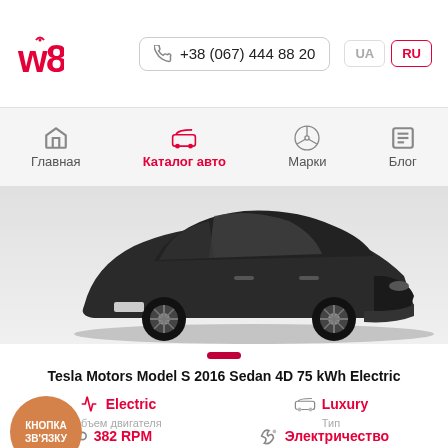w8 logo, +38 (067) 444 88 20, UA, RU
Главная | Каталог авто | Марки | Блог
[Figure (photo): Dark grey Tesla Model S sedan photographed from a front-quarter angle on a grey background]
Tesla Motors Model S 2016 Sedan 4D 75 kWh Electric
Electric | Объем двигателя
Luxury | Тип
382 RPM
Электричество